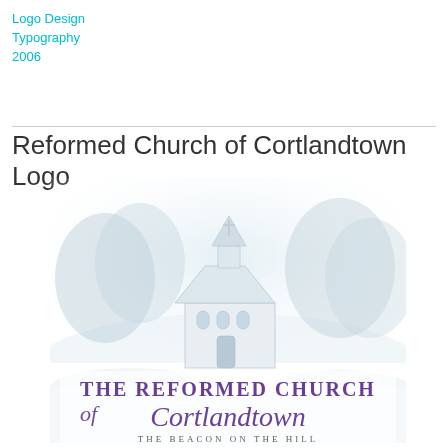Logo Design
Typography
2006
Reformed Church of Cortlandtown Logo
[Figure (logo): Reformed Church of Cortlandtown logo featuring a winter snow scene with a white church building and trees in the background (faded/muted blue-gray tones), with stylized typography below reading 'THE REFORMED CHURCH of Cortlandtown THE BEACON ON THE HILL' in purple and dark serif fonts.]